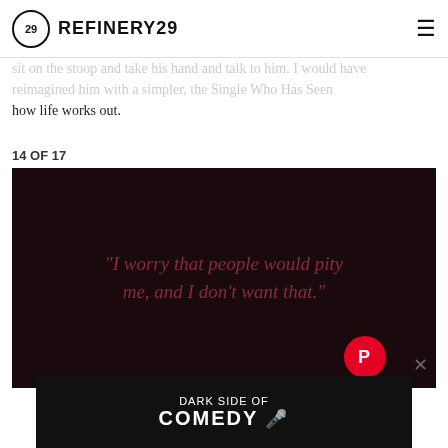REFINERY29
sit on the stoop and take his hand and talk to him. I would have reimagined him with a simpler, the Single Who Has Seen how life works out.
14 OF 17
[Figure (illustration): Dark background image with red/maroon italic text quote: "I worry that people would pity me, and I don't want that."]
[Figure (screenshot): Advertisement banner with black background showing 'DARK SIDE OF COMEDY' text with a microphone graphic]